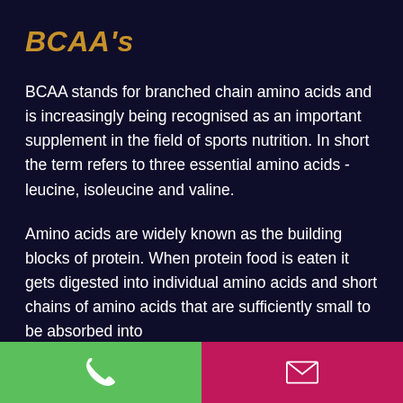BCAA's
BCAA stands for branched chain amino acids and is increasingly being recognised as an important supplement in the field of sports nutrition. In short the term refers to three essential amino acids - leucine, isoleucine and valine.
Amino acids are widely known as the building blocks of protein. When protein food is eaten it gets digested into individual amino acids and short chains of amino acids that are sufficiently small to be absorbed into